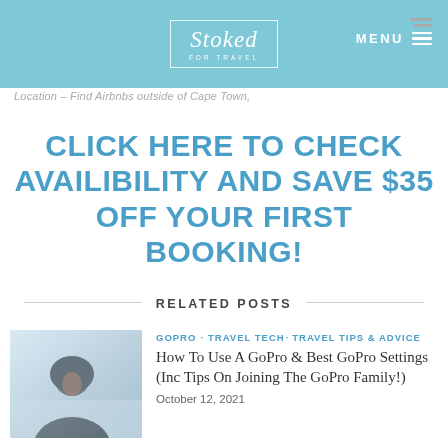Stoked for Travel — MENU
Location – Find Airbnbs outside of Cape Town,
CLICK HERE TO CHECK AVAILIBILITY AND SAVE $35 OFF YOUR FIRST BOOKING!
RELATED POSTS
[Figure (photo): Person wearing a dark hoodie standing outdoors in a misty/hazy environment]
GOPRO · TRAVEL TECH · TRAVEL TIPS & ADVICE
How To Use A GoPro & Best GoPro Settings (Inc Tips On Joining The GoPro Family!)
October 12, 2021